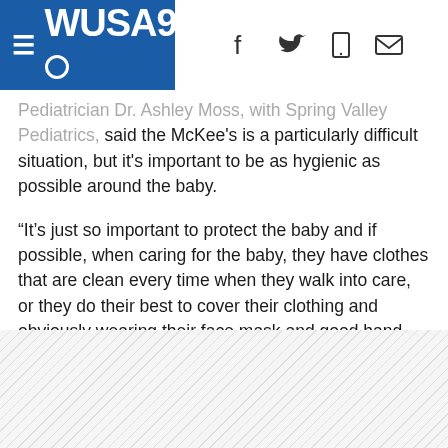WUSA9 [navigation bar with logo, hamburger menu, and social/share icons]
Pediatrician Dr. Ashley Moss, with Spring Valley Pediatrics, said the McKee's is a particularly difficult situation, but it's important to be as hygienic as possible around the baby.
“It’s just so important to protect the baby and if possible, when caring for the baby, they have clothes that are clean every time when they walk into care, or they do their best to cover their clothing and obviously wearing their face mask and good hand-washing every single time,” Dr. Moss said.
Dr. Moss said when it comes to breastfeeding, it could actually be helpful.